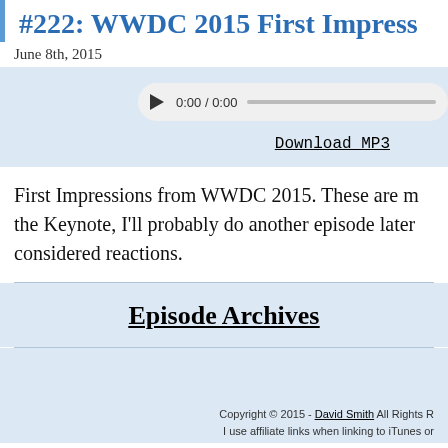#222: WWDC 2015 First Impress
June 8th, 2015
[Figure (other): Audio player with play button, timestamp 0:00 / 0:00, and progress bar]
Download MP3
First Impressions from WWDC 2015. These are m the Keynote, I'll probably do another episode later considered reactions.
Episode Archives
Copyright © 2015 - David Smith All Rights R I use affiliate links when linking to iTunes or